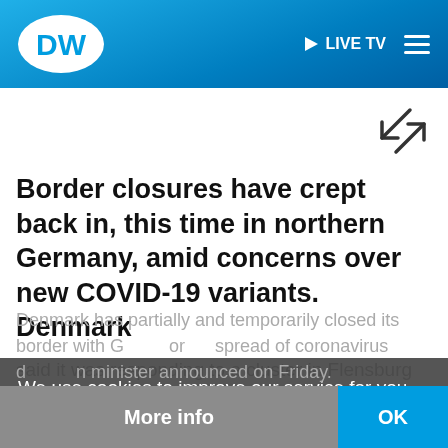DW LIVE TV
Border closures have crept back in, this time in northern Germany, amid concerns over new COVID-19 variants. Denmark
said it was responding to a cluster in Flensburg near the border.
We use cookies to improve our service for you. You can find more information in our data protection declaration.
Denmark has partially and temporarily closed its border with G... or... spread of coronavirus d... n minister announced on Friday.